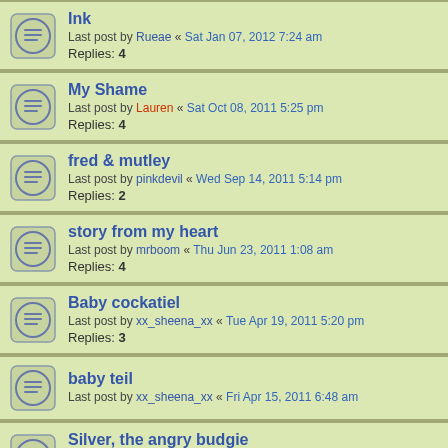Ink — Last post by Rueae « Sat Jan 07, 2012 7:24 am — Replies: 4
My Shame — Last post by Lauren « Sat Oct 08, 2011 5:25 pm — Replies: 4
fred & mutley — Last post by pinkdevil « Wed Sep 14, 2011 5:14 pm — Replies: 2
story from my heart — Last post by mrboom « Thu Jun 23, 2011 1:08 am — Replies: 4
Baby cockatiel — Last post by xx_sheena_xx « Tue Apr 19, 2011 5:20 pm — Replies: 3
baby teil — Last post by xx_sheena_xx « Fri Apr 15, 2011 6:48 am
Silver, the angry budgie — Last post by tripledeke « Sun Feb 27, 2011 6:31 pm — Replies: 2
Alby bug — Last post by pinkdevil « Thu Jan 20, 2011 6:44 pm